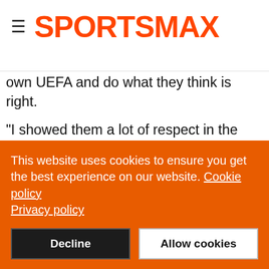SPORTSMAX
own UEFA and do what they think is right.
"I showed them a lot of respect in the past. I don't want to talk about the president of Juventus [Andrea Agnelli], but my relationship with him was very open and honest.
"I never said this before, but I invited the president of Madrid, Florentino Perez, to Nyon before it all happened to talk about future competitions. He called off the meeting with a text message just 24 hours earlier because of 'a basketball-related
This website uses cookies to ensure you get the best experience on our website. Cookie policy Privacy policy
Decline
Allow cookies